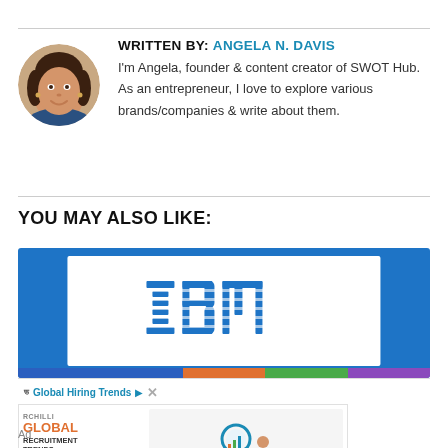WRITTEN BY: ANGELA N. DAVIS
I'm Angela, founder & content creator of SWOT Hub. As an entrepreneur, I love to explore various brands/companies & write about them.
YOU MAY ALSO LIKE:
[Figure (logo): IBM logo on blue card background with colored bar (blue, orange, green, purple) at bottom]
[Figure (advertisement): RChilli Global Recruitment Trends ad with orange GLOBAL text, figure illustration, and Global Hiring Trends overlay ad]
Ad